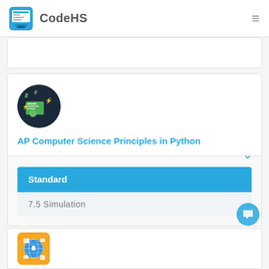CodeHS
[Figure (screenshot): CodeHS course card for AP Computer Science Principles in Python with circular dark course icon]
AP Computer Science Principles in Python
Standard
7.5  Simulation
[Figure (illustration): Partial bottom card with orange square icon showing network/devices illustration]